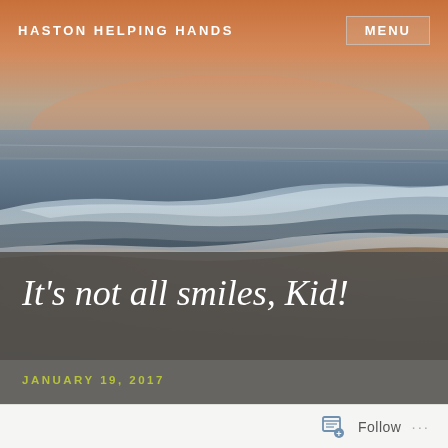HASTON HELPING HANDS
[Figure (photo): Aerial/ground-level beach scene at dusk/dawn showing ocean waves rolling onto sandy shore with warm orange-pink sky on the horizon]
It's not all smiles, Kid!
JANUARY 19, 2017
Follow ...